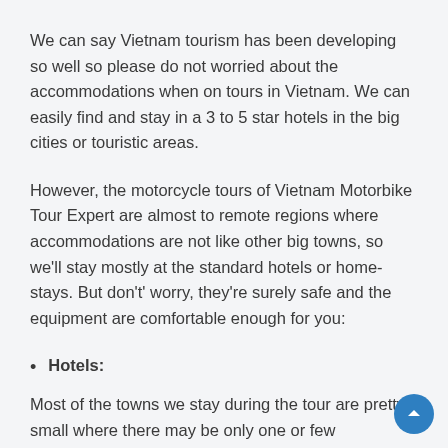We can say Vietnam tourism has been developing so well so please do not worried about the accommodations when on tours in Vietnam. We can easily find and stay in a 3 to 5 star hotels in the big cities or touristic areas.
However, the motorcycle tours of Vietnam Motorbike Tour Expert are almost to remote regions where accommodations are not like other big towns, so we'll stay mostly at the standard hotels or home-stays. But don't' worry, they're surely safe and the equipment are comfortable enough for you:
Hotels:
Most of the towns we stay during the tour are pretty small where there may be only one or few